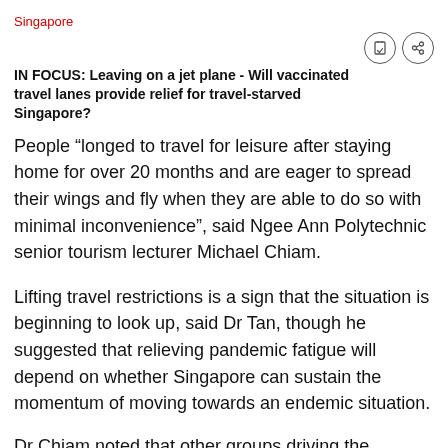Singapore
IN FOCUS: Leaving on a jet plane - Will vaccinated travel lanes provide relief for travel-starved Singapore?
People “longed to travel for leisure after staying home for over 20 months and are eager to spread their wings and fly when they are able to do so with minimal inconvenience”, said Ngee Ann Polytechnic senior tourism lecturer Michael Chiam.
Lifting travel restrictions is a sign that the situation is beginning to look up, said Dr Tan, though he suggested that relieving pandemic fatigue will depend on whether Singapore can sustain the momentum of moving towards an endemic situation.
Dr Chiam noted that other groups driving the demand for the vaccinated travel lanes are those seeking to reconnect with relatives and close friends